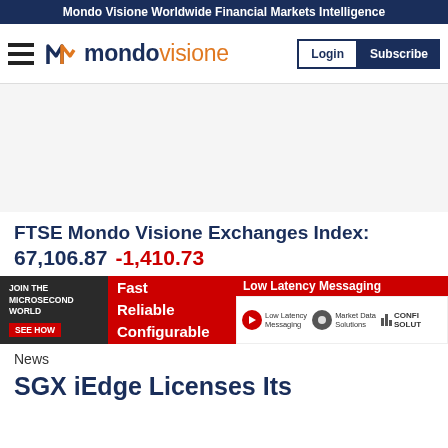Mondo Visione Worldwide Financial Markets Intelligence
[Figure (logo): Mondo Visione logo with hamburger menu, Login and Subscribe buttons]
FTSE Mondo Visione Exchanges Index: 67,106.87 -1,410.73
[Figure (infographic): Advertisement banner: Join the Microsecond World / Fast Reliable Configurable / Low Latency Messaging / Low Latency Messaging, Market Data Solutions, Configurable Solutions]
News
SGX iEdge Licenses Its